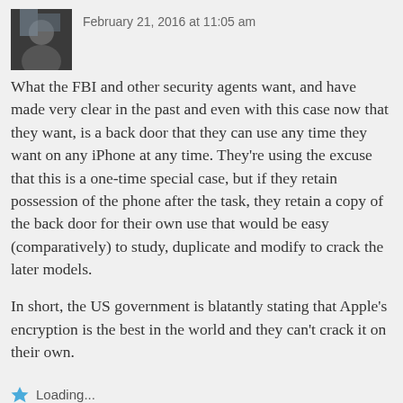[Figure (photo): Small square avatar image showing a person, dark tones]
February 21, 2016 at 11:05 am
What the FBI and other security agents want, and have made very clear in the past and even with this case now that they want, is a back door that they can use any time they want on any iPhone at any time. They’re using the excuse that this is a one-time special case, but if they retain possession of the phone after the task, they retain a copy of the back door for their own use that would be easy (comparatively) to study, duplicate and modify to crack the later models.
In short, the US government is blatantly stating that Apple’s encryption is the best in the world and they can’t crack it on their own.
Loading...